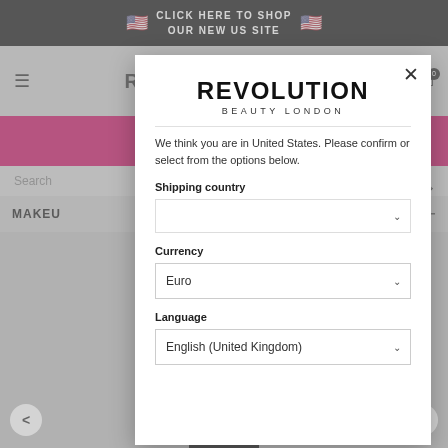CLICK HERE TO SHOP OUR NEW US SITE
[Figure (screenshot): Revolution Beauty London website with a modal popup for country/currency/language selection. Background shows the website header with hamburger menu, Revolution logo, heart icon, cart icon, pink banner, search bar, and MAKEUP navigation. A white modal dialog overlays the page showing the Revolution Beauty London logo, explanatory text about being in United States, and dropdown fields for Shipping country, Currency (Euro), and Language (English (United Kingdom)).]
We think you are in United States. Please confirm or select from the options below.
Shipping country
Currency
Euro
Language
English (United Kingdom)